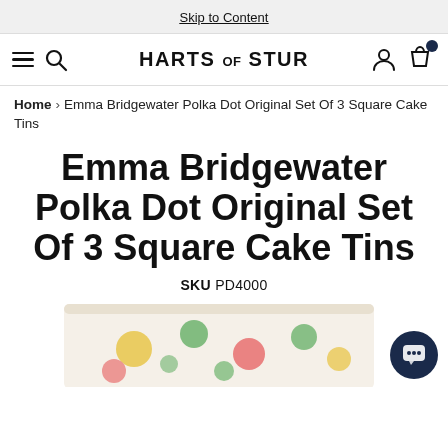Skip to Content
HARTS of STUR
Home > Emma Bridgewater Polka Dot Original Set Of 3 Square Cake Tins
Emma Bridgewater Polka Dot Original Set Of 3 Square Cake Tins
SKU PD4000
[Figure (photo): Bottom portion of a polka dot cake tin with colourful spots on a cream background, partially visible at the bottom of the page]